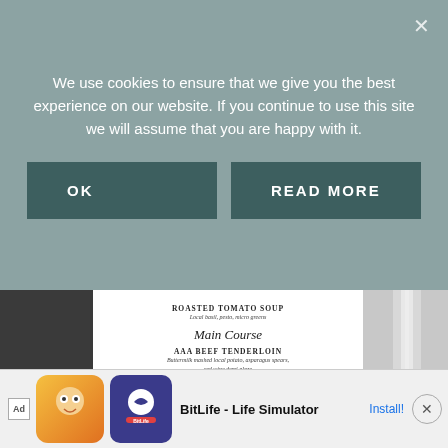We use cookies to ensure that we give you the best experience on our website. If you continue to use this site we will assume that you are happy with it.
[Figure (screenshot): Cookie consent dialog with OK and READ MORE buttons on a grey-green overlay. Below is a photograph of a wedding menu card on a table with silverware, showing menu items: Roasted Tomato Soup, Main Course, AAA Beef Tenderloin, Vancouver Island Halibut, Seasonal Vegetable Risotto, For Dessert, Wedding Cake, Brix and Mortar- Yaletown, with olive branch decoration. An advertisement banner for BitLife - Life Simulator appears at the bottom.]